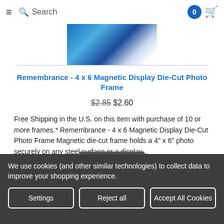≡  🔍 Search   [0] 🛒
[Figure (photo): Product photo showing a person in blue clothing on a black background, partially cropped]
Remembrance - 4 x 6 Magnetic Display Die-Cut Photo Frame
$2.85 $2.60
Free Shipping in the U.S. on this item with purchase of 10 or more frames.* Remembrance - 4 x 6 Magnetic Display Die-Cut Photo Frame Magnetic die-cut frame holds a 4" x 6" photo securely on any steel surface or a display...
We use cookies (and other similar technologies) to collect data to improve your shopping experience.
Settings  Reject all  Accept All Cookies